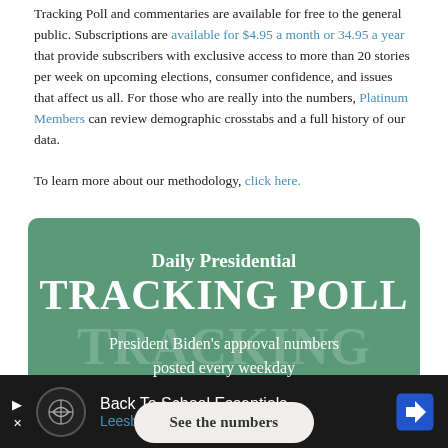Tracking Poll and commentaries are available for free to the general public. Subscriptions are available for $4.95 a month or 34.95 a year that provide subscribers with exclusive access to more than 20 stories per week on upcoming elections, consumer confidence, and issues that affect us all. For those who are really into the numbers, Platinum Members can review demographic crosstabs and a full history of our data.
To learn more about our methodology, click here.
[Figure (infographic): Green promotional box with 'Daily Presidential TRACKING POLL' heading, subtitle 'President Biden's approval numbers posted every weekday', and a 'See the numbers' button.]
[Figure (infographic): Dark advertisement bar at bottom: 'Back To School Essentials - Leesburg Premium Outlets' with circular icon and blue arrow icon.]